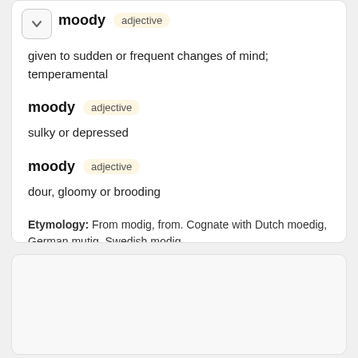moody  adjective
given to sudden or frequent changes of mind; temperamental
moody  adjective
sulky or depressed
moody  adjective
dour, gloomy or brooding
Etymology: From modig, from. Cognate with Dutch moedig, German mutig, Swedish modig.